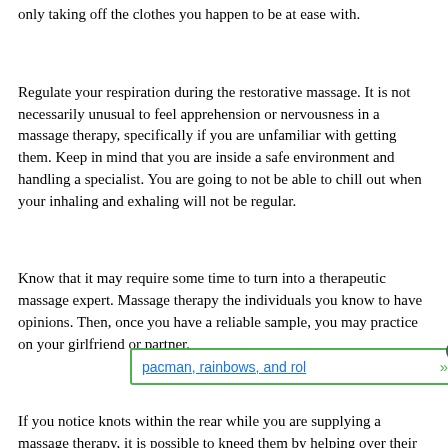only taking off the clothes you happen to be at ease with.
Regulate your respiration during the restorative massage. It is not necessarily unusual to feel apprehension or nervousness in a massage therapy, specifically if you are unfamiliar with getting them. Keep in mind that you are inside a safe environment and handling a specialist. You are going to not be able to chill out when your inhaling and exhaling will not be regular.
Know that it may require some time to turn into a therapeutic massage expert. Massage therapy the individuals you know to have opinions. Then, once you have a reliable sample, you may practice on your girlfriend or partner.
If you notice knots within the rear while you are supplying a massage therapy, it is possible to kneed them by helping over their so... s in a tennis b... couple of minu... deeper, given that the recipient remains comfortable.